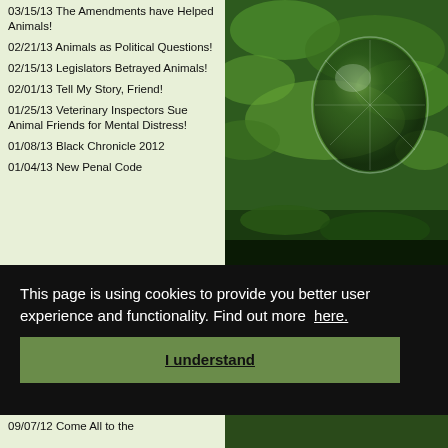03/15/13 The Amendments have Helped Animals!
02/21/13 Animals as Political Questions!
02/15/13 Legislators Betrayed Animals!
02/01/13 Tell My Story, Friend!
01/25/13 Veterinary Inspectors Sue Animal Friends for Mental Distress!
01/08/13 Black Chronicle 2012
01/04/13 New Penal Code
[Figure (photo): Green nature photo with a glass sphere/lightbulb reflecting greenery and plants, surrounded by moss and leaves]
This page is using cookies to provide you better user experience and functionality. Find out more here.
I understand
09/07/12 Come All to the